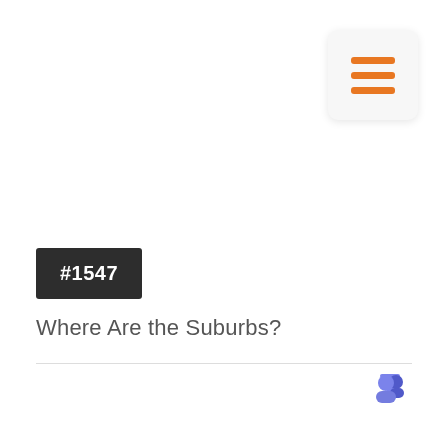[Figure (illustration): Hamburger menu icon: three orange horizontal lines on a light gray rounded rectangle card]
#1547
Where Are the Suburbs?
[Figure (logo): Microsoft Teams logo icon in bottom right corner]